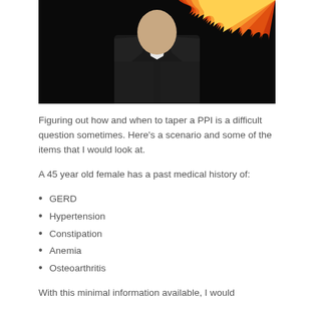[Figure (photo): A person in a dark suit with flames visible in the background on the upper right, against a black background. The person's face is partially cropped at the top.]
Figuring out how and when to taper a PPI is a difficult question sometimes.  Here's a scenario and some of the items that I would look at.
A 45 year old female has a past medical history of:
GERD
Hypertension
Constipation
Anemia
Osteoarthritis
With this minimal information available, I would